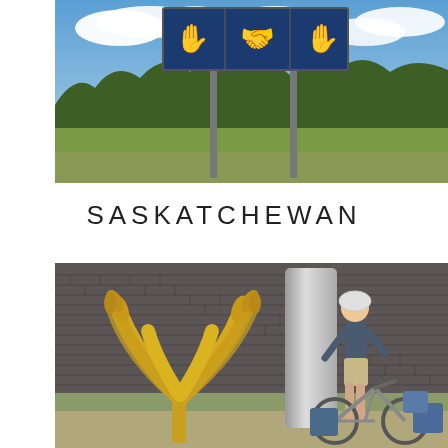[Figure (photo): Outdoor photograph showing road signs on metal posts against a blue sky with white clouds, green trees in background and grassy field. Signs appear to be provincial/highway signs.]
SASKATCHEWAN
[Figure (photo): Photograph of a person in cycling gear (helmet) standing next to a loaded touring bicycle beside a large yellow wheat sheaf sculpture, with a building with wooden shingle roof visible in background. Saskatchewan welcome centre.]